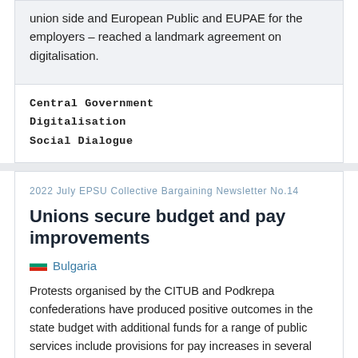union side and European Public and EUPAE for the employers – reached a landmark agreement on digitalisation.
Central Government
Digitalisation
Social Dialogue
2022 July EPSU Collective Bargaining Newsletter No.14
Unions secure budget and pay improvements
Bulgaria
Protests organised by the CITUB and Podkrepa confederations have produced positive outcomes in the state budget with additional funds for a range of public services include provisions for pay increases in several areas. Municipal administrations will get BGN 30.3m (€15.5m) for salary increases while pay in regional administrations is set to rise by 10% on